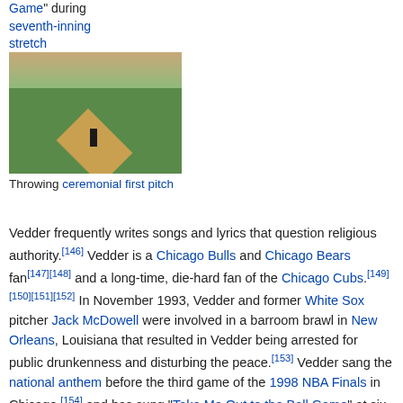Game" during seventh-inning stretch
[Figure (photo): Photo of someone throwing a ceremonial first pitch on a baseball field, likely Wrigley Field, with crowd visible in the background]
Throwing ceremonial first pitch
Vedder frequently writes songs and lyrics that question religious authority.[146] Vedder is a Chicago Bulls and Chicago Bears fan[147][148] and a long-time, die-hard fan of the Chicago Cubs.[149][150][151][152] In November 1993, Vedder and former White Sox pitcher Jack McDowell were involved in a barroom brawl in New Orleans, Louisiana that resulted in Vedder being arrested for public drunkenness and disturbing the peace.[153] Vedder sang the national anthem before the third game of the 1998 NBA Finals in Chicago,[154] and has sung "Take Me Out to the Ball Game" at six Cubs games, including Game 5 of the 2016 World Series. In 2007, a few days before performing with Pearl Jam in Chicago for